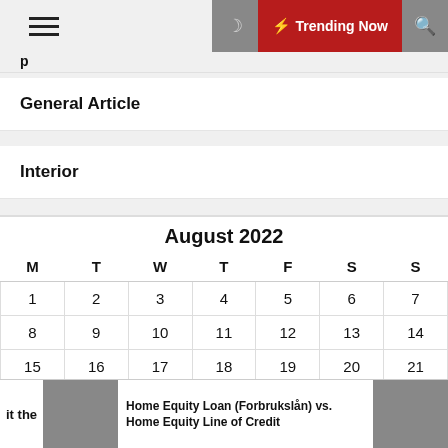Trending Now
General Article
Interior
| M | T | W | T | F | S | S |
| --- | --- | --- | --- | --- | --- | --- |
| 1 | 2 | 3 | 4 | 5 | 6 | 7 |
| 8 | 9 | 10 | 11 | 12 | 13 | 14 |
| 15 | 16 | 17 | 18 | 19 | 20 | 21 |
| 22 | 23 | 24 | 25 | 26 | 27 | 28 |
August 2022
Home Equity Loan (Forbrukslån) vs. Home Equity Line of Credit